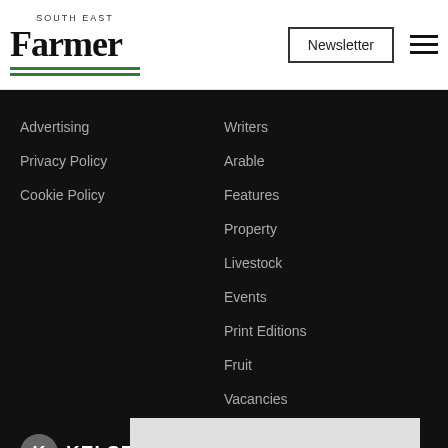[Figure (logo): South East Farmer logo with bold 'Farmer' text, 'SOUTH EAST' above in small caps, and two green horizontal lines beneath]
Newsletter
[Figure (other): Hamburger menu icon (three horizontal lines)]
Advertising
Privacy Policy
Cookie Policy
Writers
Arable
Features
Property
Livestock
Events
Print Editions
Fruit
Vacancies
[Figure (logo): Kelsey Media logo with grey circle K icon and KELSEY in bold white uppercase and 'media' in regular white]
Kelsey Media Ltd, The Granary, Downs Court, Yalding Hil, Yalding, Kent, ME18 6AL 01959 541444
© 2022 Kelsey Media Ltd · kelsey.co.uk